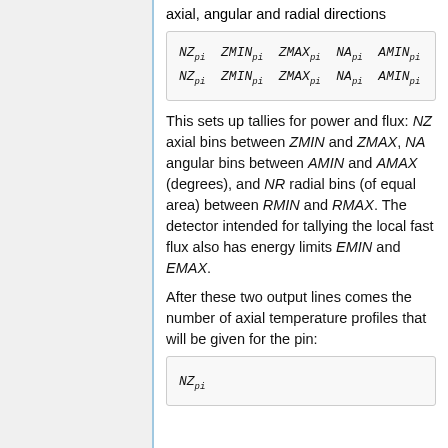axial, angular and radial directions
This sets up tallies for power and flux: NZ axial bins between ZMIN and ZMAX, NA angular bins between AMIN and AMAX (degrees), and NR radial bins (of equal area) between RMIN and RMAX. The detector intended for tallying the local fast flux also has energy limits EMIN and EMAX.
After these two output lines comes the number of axial temperature profiles that will be given for the pin: